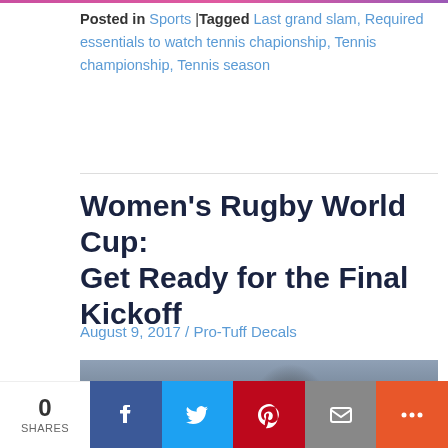Posted in Sports |Tagged Last grand slam, Required essentials to watch tennis chapionship, Tennis championship, Tennis season
Women's Rugby World Cup: Get Ready for the Final Kickoff
August 9, 2017 / Pro-Tuff Decals
[Figure (photo): Women rugby players in dark blue uniforms competing during a match]
0 SHARES | Facebook | Twitter | Pinterest | Email | More